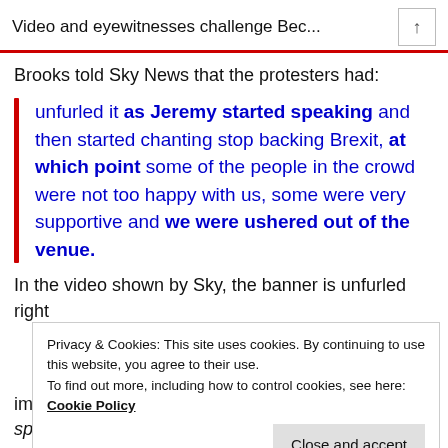Video and eyewitnesses challenge Bec...
Brooks told Sky News that the protesters had:
unfurled it as Jeremy started speaking and then started chanting stop backing Brexit, at which point some of the people in the crowd were not too happy with us, some were very supportive and we were ushered out of the venue.
In the video shown by Sky, the banner is unfurled right
Privacy & Cookies: This site uses cookies. By continuing to use this website, you agree to their use.
To find out more, including how to control cookies, see here: Cookie Policy
immediate ejection was 'as Jeremy started speaking',